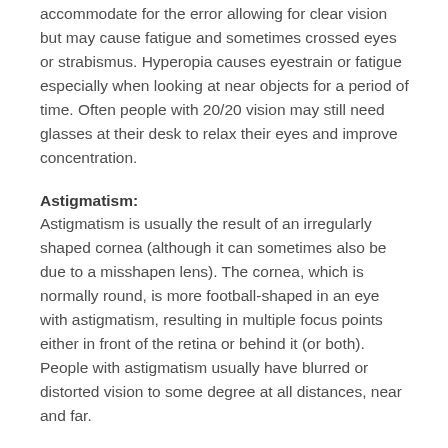accommodate for the error allowing for clear vision but may cause fatigue and sometimes crossed eyes or strabismus. Hyperopia causes eyestrain or fatigue especially when looking at near objects for a period of time. Often people with 20/20 vision may still need glasses at their desk to relax their eyes and improve concentration.
Astigmatism:
Astigmatism is usually the result of an irregularly shaped cornea (although it can sometimes also be due to a misshapen lens). The cornea, which is normally round, is more football-shaped in an eye with astigmatism, resulting in multiple focus points either in front of the retina or behind it (or both). People with astigmatism usually have blurred or distorted vision to some degree at all distances, near and far.
Presbyopia:
Presbyopia is an age-related condition which usually